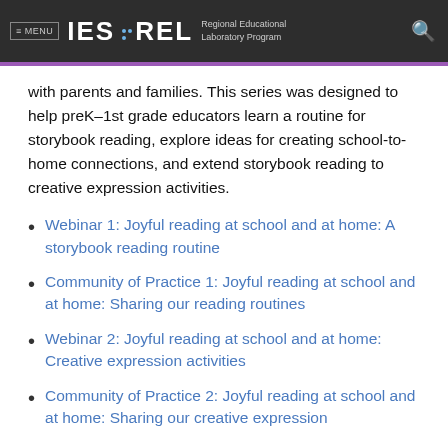≡ MENU  IES · REL  Regional Educational Laboratory Program
with parents and families. This series was designed to help preK–1st grade educators learn a routine for storybook reading, explore ideas for creating school-to-home connections, and extend storybook reading to creative expression activities.
Webinar 1: Joyful reading at school and at home: A storybook reading routine
Community of Practice 1: Joyful reading at school and at home: Sharing our reading routines
Webinar 2: Joyful reading at school and at home: Creative expression activities
Community of Practice 2: Joyful reading at school and at home: Sharing our creative expression